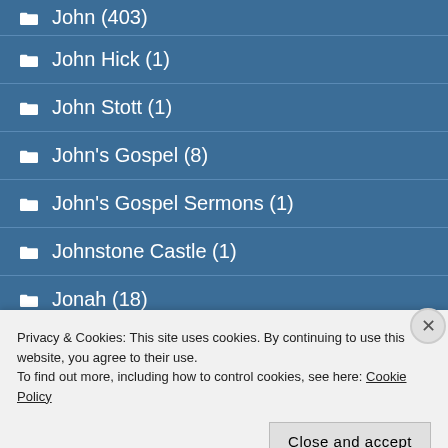John (403)
John Hick (1)
John Stott (1)
John's Gospel (8)
John's Gospel Sermons (1)
Johnstone Castle (1)
Jonah (18)
Privacy & Cookies: This site uses cookies. By continuing to use this website, you agree to their use.
To find out more, including how to control cookies, see here: Cookie Policy
Close and accept